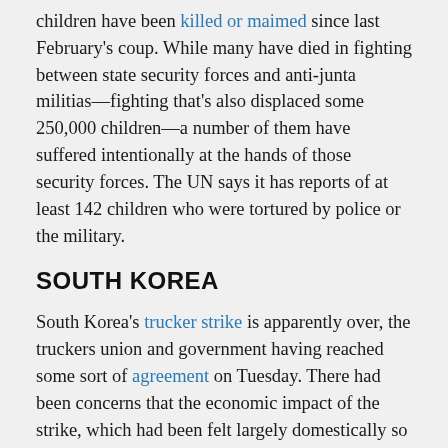children have been killed or maimed since last February's coup. While many have died in fighting between state security forces and anti-junta militias—fighting that's also displaced some 250,000 children—a number of them have suffered intentionally at the hands of those security forces. The UN says it has reports of at least 142 children who were tortured by police or the military.
SOUTH KOREA
South Korea's trucker strike is apparently over, the truckers union and government having reached some sort of agreement on Tuesday. There had been concerns that the economic impact of the strike, which had been felt largely domestically so far, could spread globally had it continued much longer.